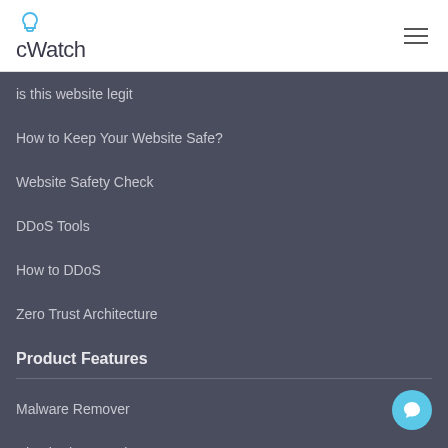cWatch
is this website legit
How to Keep Your Website Safe?
Website Safety Check
DDoS Tools
How to DDoS
Zero Trust Architecture
Product Features
Malware Remover
Check Site Security